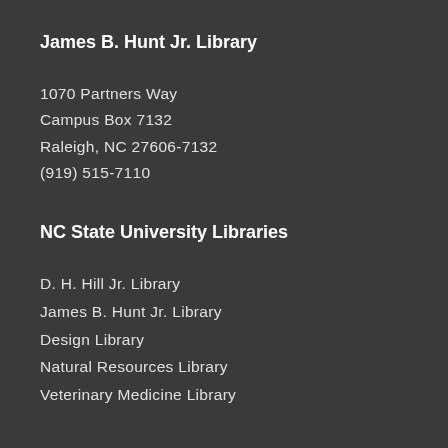James B. Hunt Jr. Library
1070 Partners Way
Campus Box 7132
Raleigh, NC 27606-7132
(919) 515-7110
NC State University Libraries
D. H. Hill Jr. Library
James B. Hunt Jr. Library
Design Library
Natural Resources Library
Veterinary Medicine Library
Copyright
Privacy Statement
Accessibility at the Libraries